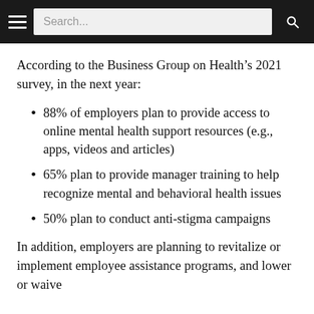Search...
According to the Business Group on Health’s 2021 survey, in the next year:
88% of employers plan to provide access to online mental health support resources (e.g., apps, videos and articles)
65% plan to provide manager training to help recognize mental and behavioral health issues
50% plan to conduct anti-stigma campaigns
In addition, employers are planning to revitalize or implement employee assistance programs, and lower or waive